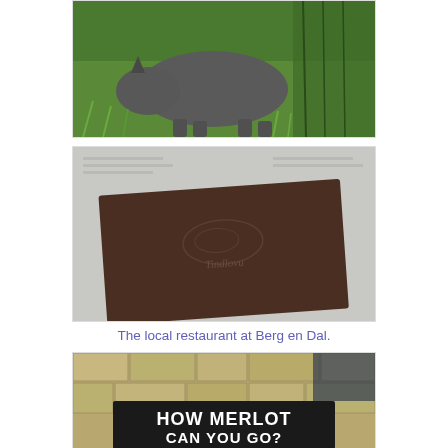[Figure (photo): A rhinoceros walking through tall green grass and trees in a wildlife area.]
[Figure (photo): Close-up of a dark brown leather-bound restaurant menu with an embossed rhino logo and the text 'Tindlovu', placed on newspaper.]
The local restaurant at Berg en Dal.
[Figure (photo): A sign on a stone/brick wall reading 'HOW MERLOT CAN YOU GO?' in white text on a dark background.]